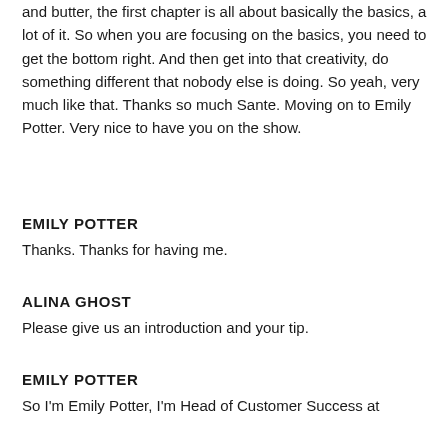and butter, the first chapter is all about basically the basics, a lot of it. So when you are focusing on the basics, you need to get the bottom right. And then get into that creativity, do something different that nobody else is doing. So yeah, very much like that. Thanks so much Sante. Moving on to Emily Potter. Very nice to have you on the show.
EMILY POTTER
Thanks. Thanks for having me.
ALINA GHOST
Please give us an introduction and your tip.
EMILY POTTER
So I'm Emily Potter, I'm Head of Customer Success at